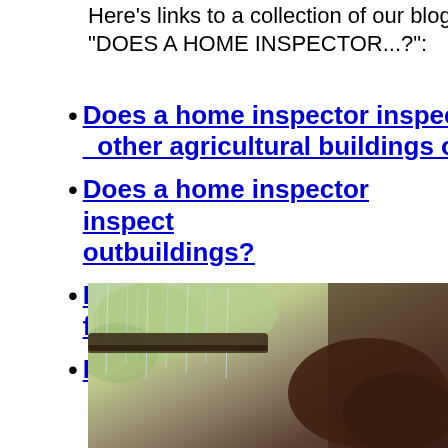Here's links to a collection of our blog posts titled "DOES A HOME INSPECTOR...?":
Does a home inspector inspect barns and other agricultural buildings on a farm?
Does a home inspector inspect outbuildings?
Does a home inspector give cost estimates for repairs?
Does a home inspector inspect in the...
[Figure (photo): Photo showing rain or water dripping from a roof edge or gutter, with blurred green foliage in the background and a close-up of hands or a dark object in the foreground.]